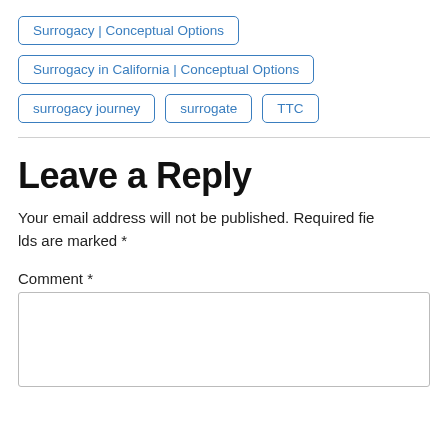Surrogacy | Conceptual Options
Surrogacy in California | Conceptual Options
surrogacy journey
surrogate
TTC
Leave a Reply
Your email address will not be published. Required fields are marked *
Comment *